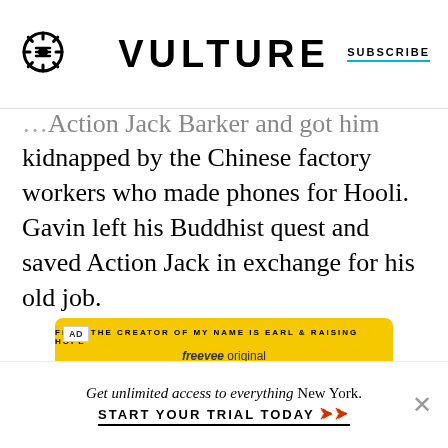VULTURE | SUBSCRIBE
...kidnapped by the Chinese factory workers who made phones for Hooli. Gavin left his Buddhist quest and saved Action Jack in exchange for his old job.
[Figure (infographic): Advertisement for 'Sprung', a Freevee original series. Yellow background with black text. From the creator of My Name Is Earl & Raising Hope. freevee original. SPRUNG in large bold italic letters. Black section below.]
Get unlimited access to everything New York. START YOUR TRIAL TODAY ➤➤